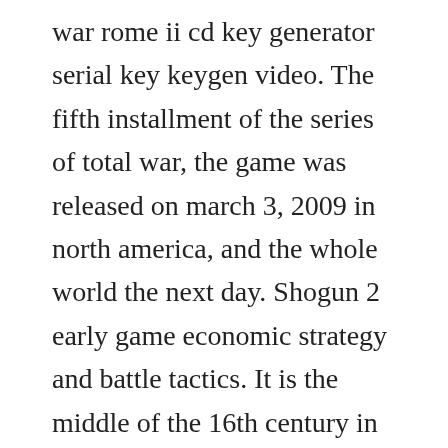war rome ii cd key generator serial key keygen video. The fifth installment of the series of total war, the game was released on march 3, 2009 in north america, and the whole world the next day. Shogun 2 early game economic strategy and battle tactics. It is the middle of the 16th century in feudal japan. The offer starts today at 6 pm bst10 am pt and will conclude at. Total war will allow gamers to lead their armies across the battlefields of europe and the holy land before discovering the americas and doing battle